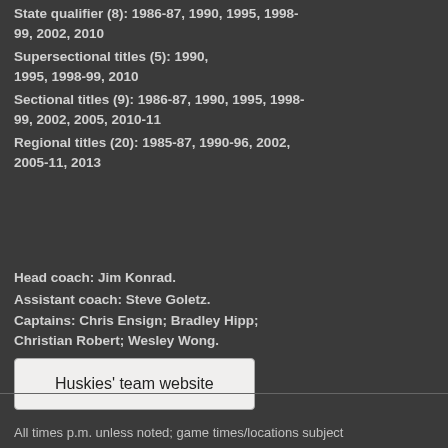State qualifier (8): 1986-87, 1990, 1995, 1998-99, 2002, 2010
Supersectional titles (5): 1990, 1995, 1998-99, 2010
Sectional titles (9): 1986-87, 1990, 1995, 1998-99, 2002, 2005, 2010-11
Regional titles (20): 1985-87, 1990-96, 2002, 2005-11, 2013
Head coach: Jim Konrad.
Assistant coach: Steve Goletz.
Captains: Chris Ensign; Bradley Hipp; Christian Robert; Wesley Wong.
[Figure (other): Button linking to Huskies' team website]
All times p.m. unless noted; game times/locations subject